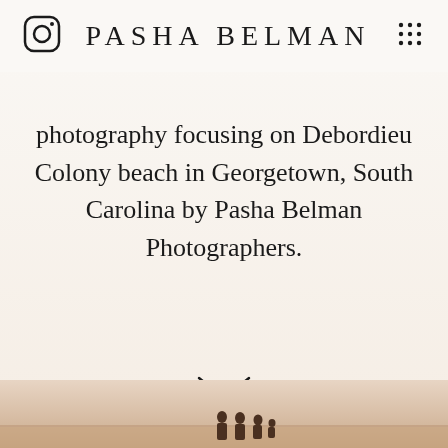PASHA BELMAN
photography focusing on Debordieu Colony beach in Georgetown, South Carolina by Pasha Belman Photographers.
[Figure (other): Chevron / down arrow icon indicating scroll down]
[Figure (photo): Bottom strip showing a beach photo with silhouetted figures of people on a beach at golden hour]